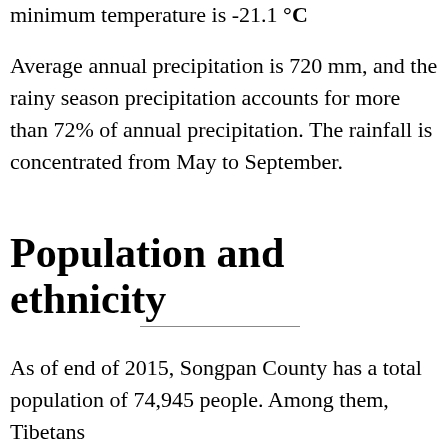minimum temperature is -21.1°C
Average annual precipitation is 720 mm, and the rainy season precipitation accounts for more than 72% of annual precipitation. The rainfall is concentrated from May to September.
Population and ethnicity
As of end of 2015, Songpan County has a total population of 74,945 people. Among them, Tibetans